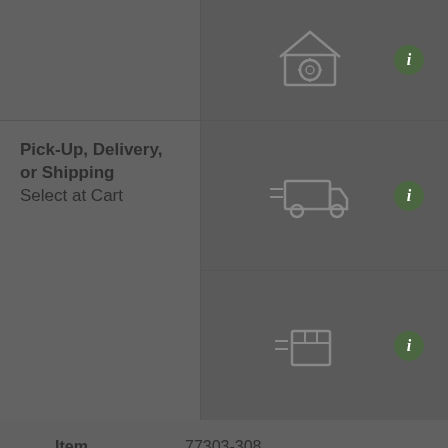[Figure (illustration): Store/shop icon with roof and circular window]
[Figure (illustration): Delivery truck with motion lines icon]
Pick-Up, Delivery, or Shipping
Select at Cart
[Figure (illustration): Shipping box with motion lines icon]
| Item | 77303-308 |
| Size | 8 ft. |
| Available | 0 |
| Location | Special Order Only. |
This item is not stocked nearby. If you need this item now, you can Check In Stock items at Other